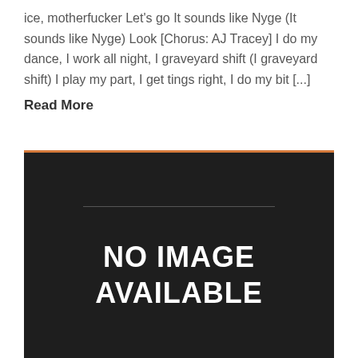ice, motherfucker Let's go It sounds like Nyge (It sounds like Nyge) Look [Chorus: AJ Tracey] I do my dance, I work all night, I graveyard shift (I graveyard shift) I play my part, I get tings right, I do my bit [...]
Read More
[Figure (other): No image available placeholder — dark background with orange top border, a horizontal divider line, and white bold text reading 'NO IMAGE AVAILABLE']